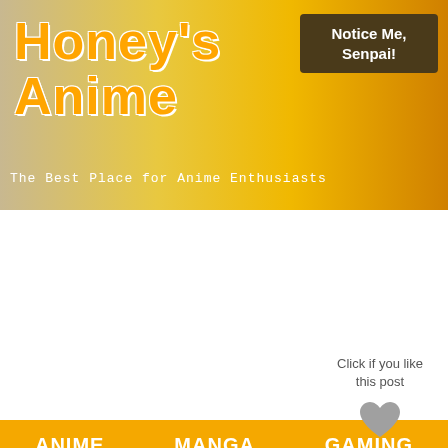[Figure (illustration): Honey's Anime website banner with anime girl character, bee mascot, and honeycomb background. Orange/gold color scheme.]
Honey's Anime
The Best Place for Anime Enthusiasts
Notice Me, Senpai!
ANIME   MANGA   GAMING
Search...
Click if you like this post